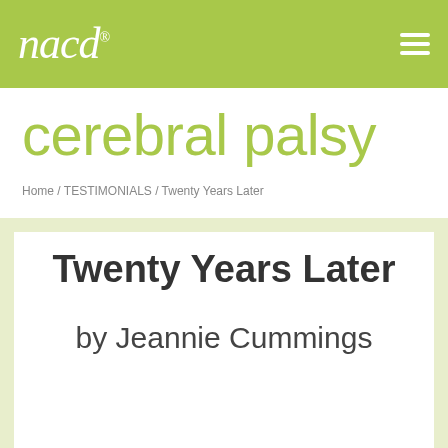nacd® [hamburger menu]
cerebral palsy
Home / TESTIMONIALS / Twenty Years Later
Twenty Years Later
by Jeannie Cummings